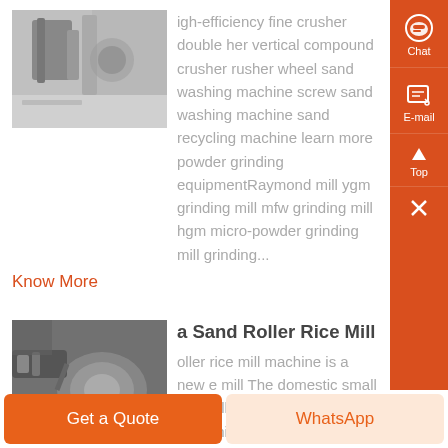[Figure (photo): Industrial crusher/mill machinery photo, gray tones]
igh-efficiency fine crusher double her vertical compound crusher rusher wheel sand washing machine screw sand washing machine sand recycling machine learn more powder grinding equipmentRaymond mill ygm grinding mill mfw grinding mill hgm micro-powder grinding mill grinding...
Know More
Sand Roller Rice Mill
[Figure (photo): Sand roller rice mill machinery photo, dark gray tones]
oller rice mill machine is a new e mill The domestic small rice mill do the rice directly into white...
Get a Quote
WhatsApp